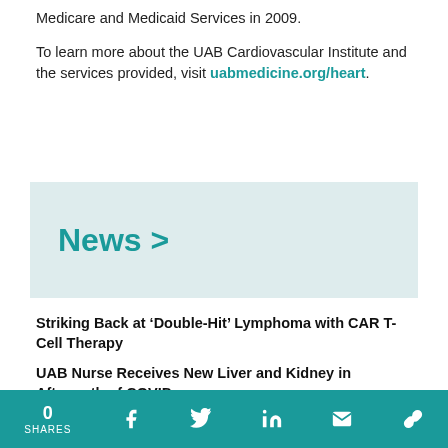Medicare and Medicaid Services in 2009.
To learn more about the UAB Cardiovascular Institute and the services provided, visit uabmedicine.org/heart.
News >
Striking Back at ‘Double-Hit’ Lymphoma with CAR T-Cell Therapy
UAB Nurse Receives New Liver and Kidney in Aftermath of COVID
UAB OB/GYN Services Ranked No. 5 Nationally: Q&A with Chair Warner Huh, MD
The Benefits of Breastfeeding
0 SHARES  [Facebook] [Twitter] [LinkedIn] [Email] [Link]